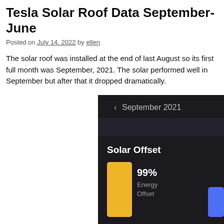Tesla Solar Roof Data September-June
Posted on July 14, 2022 by ellen
The solar roof was installed at the end of last August so its first full month was September, 2021. The solar performed well in September but after that it dropped dramatically.
[Figure (screenshot): Tesla solar app screenshot showing September 2021 Solar Offset: 99% Energy Offset, with a yellow bar and a blue bar partially visible.]